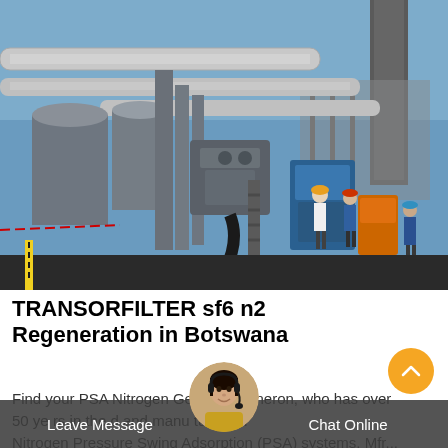[Figure (photo): Industrial facility photo showing large pipes, valves, and mechanical equipment at an outdoor plant site. Several workers in hard hats are visible in the background near blue and orange machinery. A tall chimney stack is visible on the right side against a blue sky.]
TRANSORFILTER sf6 n2 Regeneration in Botswana
Find your PSA Nitrogen Generators from Generon, who has over 50 years experience in the design and manufacturing of Nitrogen Pressure Swing Adsorption (PSA) systems. Mfr...